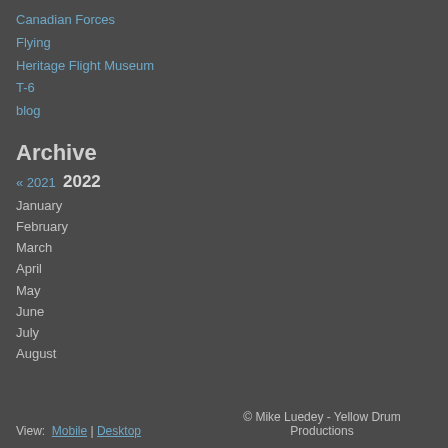Canadian Forces
Flying
Heritage Flight Museum
T-6
blog
Archive
« 2021  2022
January
February
March
April
May
June
July
August
View:  Mobile | Desktop    © Mike Luedey - Yellow Drum Productions